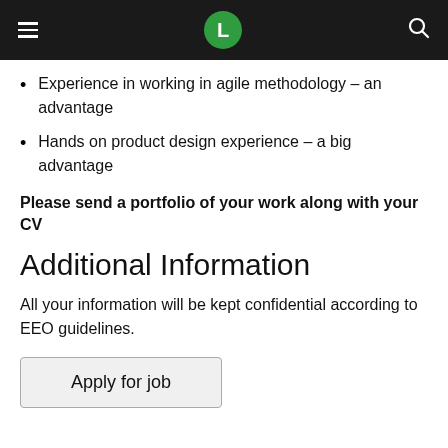L
Experience in working in agile methodology – an advantage
Hands on product design experience – a big advantage
Please send a portfolio of your work along with your CV
Additional Information
All your information will be kept confidential according to EEO guidelines.
Apply for job